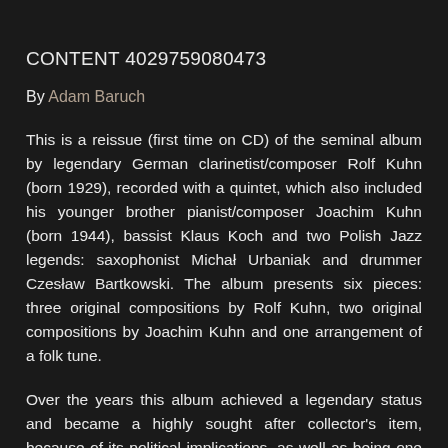CONTENT 4029759080473
By Adam Baruch
This is a reissue (first time on CD) of the seminal album by legendary German clarinetist/composer Rolf Kuhn (born 1929), recorded with a quintet, which also included his younger brother pianist/composer Joachim Kuhn (born 1944), bassist Klaus Koch and two Polish Jazz legends: saxophonist Michał Urbaniak and drummer Czesław Bartkowski. The album presents six pieces: three original compositions by Rolf Kuhn, two original compositions by Joachim Kuhn and one arrangement of a folk tune.
Over the years this album achieved a legendary status and became a highly sought after collector's item, because of its political implications, as well as being one of the earliest East European Jazz recordings and an important cornerstone of European Jazz in general. The album was recorded three years after the Berlin Wall, which divided the